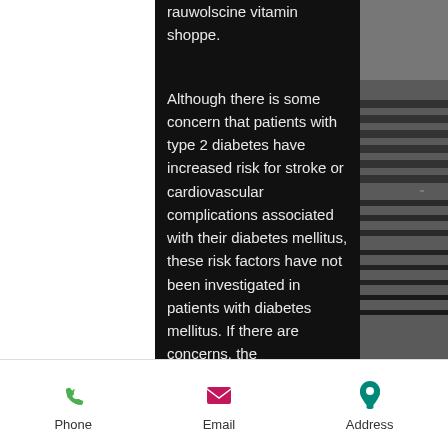rauwolscine vitamin shoppe.
Although there is some concern that patients with type 2 diabetes have increased risk for stroke or cardiovascular complications associated with their diabetes mellitus, these risk factors have not been investigated in patients with diabetes mellitus. If there are concerns, the management of these patients should be guided by the evidence that suggests that their cardiovascular risk is lower than that for patients with type 2 diabetes with the metabolic disorder, steroid side effects uk.
Patients with type 2 diabetes mellitus can also develop an increased risk for thromboplasties, including thromboembolic events. However, the mechanism of
Phone   Email   Address